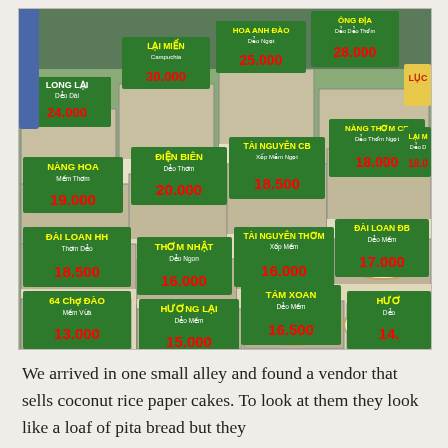[Figure (photo): Vietnamese market stall displaying multiple bins of rice varieties, each with a green price sign showing the rice name, description, and price in Vietnamese dong. Visible signs include: LONG LAI Deo Dai 24.000, LAI MIEN Campuchia 30.000, HOA ANH DAO Deo Ngoi 25.000, ONG DIA Deo Doi Thom 28.000, LUC, NANG HOA Mem Thom 19.000, DIEN BIEN Deo Thom 20.000, TAI NGUYEN CB Xop Mem Ngot 18.500, NANG THOM CB Deo Thom Ngoi 18.000, LAI M Deo D 18.0, DAI LOAN HH Thom Deo 18.500, THOM NHAT Deo Ngon 16.000, TAI NGUYEN THOM Xop Mem 16.000, DAI LOAN DB Deo Mem 17.000, 64 CHO DAO Mem Vua 13.000, HUONG LAI Deo Mem 15.000, TAM XOAN Deo Mem 16.500, HUO D 14.]
We arrived in one small alley and found a vendor that sells coconut rice paper cakes. To look at them they look like a loaf of pita bread but they